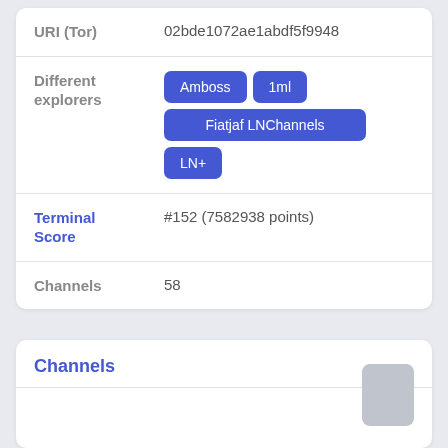URI (Tor)   02bde1072ae1abdf5f9948
Different explorers   Amboss  1ml  Fiatjaf LNChannels  LN+
Terminal Score   #152 (7582938 points)
Channels   58
Channels